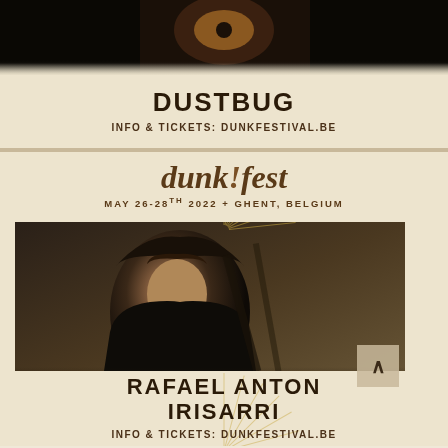[Figure (photo): Top portion of a music festival poster for DUSTBUG at dunk!fest, showing a dark photograph at top with a vinyl record or instrument]
DUSTBUG
INFO & TICKETS: DUNKFESTIVAL.BE
[Figure (photo): dunk!fest festival poster for Rafael Anton Irisarri showing person in black hoodie, sepia-toned portrait photo]
dunk!fest
MAY 26-28TH 2022 + GHENT, BELGIUM
RAFAEL ANTON IRISARRI
INFO & TICKETS: DUNKFESTIVAL.BE